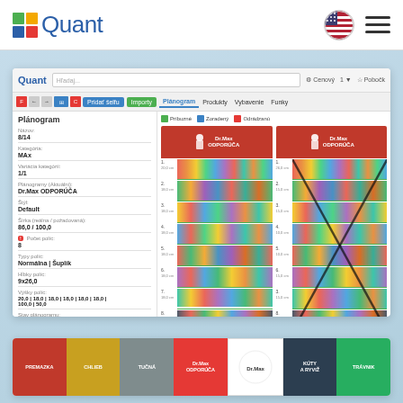[Figure (screenshot): Quant planogram software interface showing navigation bar with Quant logo, US flag, and hamburger menu]
[Figure (screenshot): Quant planogram application screenshot showing planogram details panel on left (Názov: 8/14, Kategória: MAx, Variácia: 1/1, Planogramy: Dr.Max ODPORÚČA, Štýl: Default, šírka: 86,0/100,0, Počet polic: 8, Typy políc: Normálna/Šuplík, Hĺbka políc: 9x26,0, Výšky políc: 20,0/18,0/18,0/18,0/18,0/18,0, Stav planogramu: Čakajú, Čakajúci od: 30.11.2017 (Týždeň 48), Implementovať do: 30.11.2017 (Týždeň 48)) and two planogram shelf displays with Dr.Max ODPORÚČA branding, one crossed out]
[Figure (screenshot): Partial bottom screenshot showing colorful category tiles including PREMAZKA, CHLIEB, TUČNÁ, DR.MAX, KÚTY A RYVIŽ, TRÁVNIK]